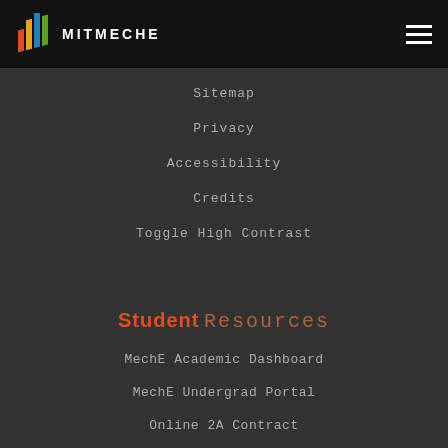MITMECHE
Sitemap
Privacy
Accessibility
Credits
Toggle High Contrast
Student Resources
MechE Academic Dashboard
MechE Undergrad Portal
Online 2A Contract
SB Thesis Information
Online Grad Card